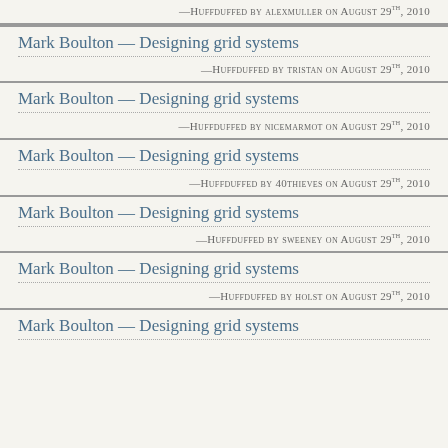—Huffduffed by alexmuller on August 29th, 2010
Mark Boulton — Designing grid systems
—Huffduffed by tristan on August 29th, 2010
Mark Boulton — Designing grid systems
—Huffduffed by nicemarmot on August 29th, 2010
Mark Boulton — Designing grid systems
—Huffduffed by 40thieves on August 29th, 2010
Mark Boulton — Designing grid systems
—Huffduffed by sweeney on August 29th, 2010
Mark Boulton — Designing grid systems
—Huffduffed by holst on August 29th, 2010
Mark Boulton — Designing grid systems